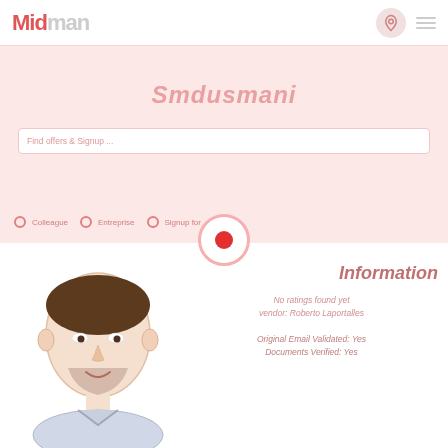[Figure (screenshot): Midman website UI showing logo, navigation, search interface with username Smdusmani, and user profile information section with avatar illustration]
Midman
Smdusmani
Information
No ratings found yet
vendor: Roberto Laportalles
Original Email Validated: Yes
Documents Verified: Yes